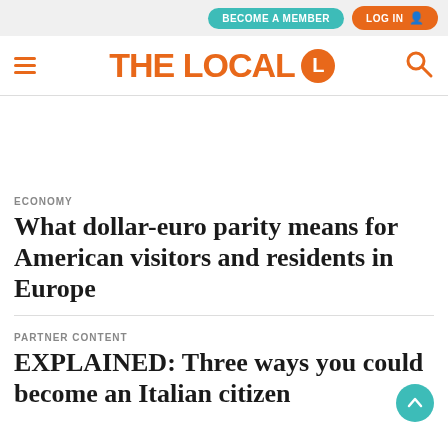BECOME A MEMBER  LOG IN
[Figure (logo): The Local logo with orange hamburger menu, THE LOCAL text in orange with circular L icon, and orange search icon]
ECONOMY
What dollar-euro parity means for American visitors and residents in Europe
PARTNER CONTENT
EXPLAINED: Three ways you could become an Italian citizen